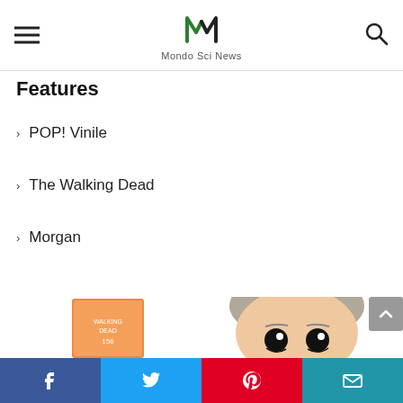Mondo Sci News
Features
POP! Vinile
The Walking Dead
Morgan
[Figure (photo): Funko POP! vinyl figure of Carol from The Walking Dead (#156), showing the product box on the left and an enlarged view of the figure's head on the right with grey hair and large black eyes.]
Facebook | Twitter | Pinterest | Email